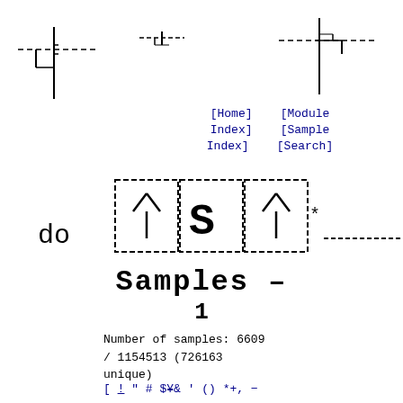[Figure (engineering-diagram): Engineering schematic showing alignment/registration marks with crosshairs and bracket symbols at top of page]
[Home] [Module Index] [Sample Index] [Search]
[Figure (schematic): Large rendered font/glyph diagram showing characters in dashed boxes with 'do' prefix, resembling a font sample display]
Samples - 1
Number of samples: 6609 / 1154513 (726163 unique)
[ ! " # $¥& ' () *+, -